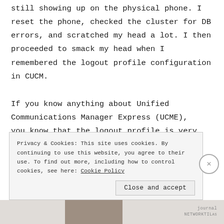still showing up on the physical phone. I reset the phone, checked the cluster for DB errors, and scratched my head a lot. I then proceeded to smack my head when I remembered the logout profile configuration in CUCM.
If you know anything about Unified Communications Manager Express (UCME), you know that the logout profile is very
Privacy & Cookies: This site uses cookies. By continuing to use this website, you agree to their use. To find out more, including how to control cookies, see here: Cookie Policy
Close and accept
journal
NETWORKTILAS